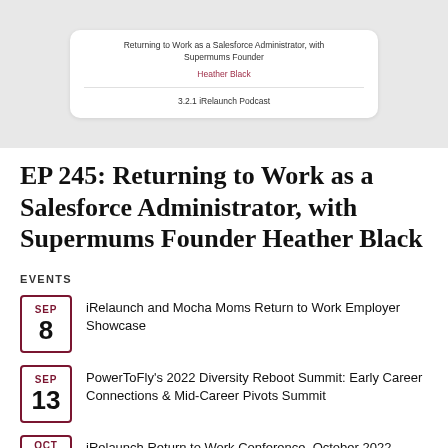[Figure (screenshot): Podcast card on grey background showing episode title 'Returning to Work as a Salesforce Administrator, with Supermums Founder', author 'Heather Black', and podcast label '3.2.1 iRelaunch Podcast']
EP 245: Returning to Work as a Salesforce Administrator, with Supermums Founder Heather Black
EVENTS
SEP 8 iRelaunch and Mocha Moms Return to Work Employer Showcase
SEP 13 PowerToFly's 2022 Diversity Reboot Summit: Early Career Connections & Mid-Career Pivots Summit
OCT 10 iRelaunch Return to Work Conference, October 2022